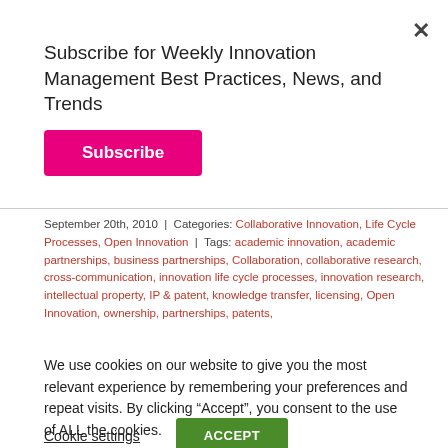Subscribe for Weekly Innovation Management Best Practices, News, and Trends
Subscribe
September 20th, 2010 | Categories: Collaborative Innovation, Life Cycle Processes, Open Innovation | Tags: academic innovation, academic partnerships, business partnerships, Collaboration, collaborative research, cross-communication, innovation life cycle processes, innovation research, intellectual property, IP & patent, knowledge transfer, licensing, Open Innovation, ownership, partnerships, patents,
We use cookies on our website to give you the most relevant experience by remembering your preferences and repeat visits. By clicking “Accept”, you consent to the use of ALL the cookies.
Do not sell my personal information.
Cookie settings
ACCEPT